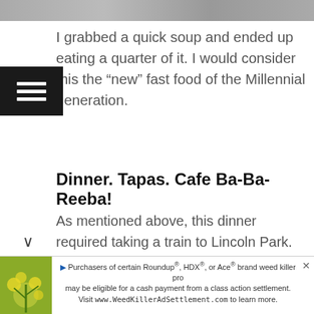[Figure (photo): Top partial image, cropped at top of page]
I grabbed a quick soup and ended up eating a quarter of it. I would consider this the “new” fast food of the Millennial generation.
Dinner. Tapas. Cafe Ba-Ba-Reeba!
As mentioned above, this dinner required taking a train to Lincoln Park. The community is cute. It reminded me of Toronto and heading out to the little micro-communities for foodie exploration.
[Figure (photo): State/Lake station sign showing Outer Loop, Green Line to Howard, Brown Line with directional arrows. Interior of station with people visible.]
Purchasers of certain Roundup®, HDX®, or Ace® brand weed killer products may be eligible for a cash payment from a class action settlement. Visit www.WeedKillerAdSettlement.com to learn more.